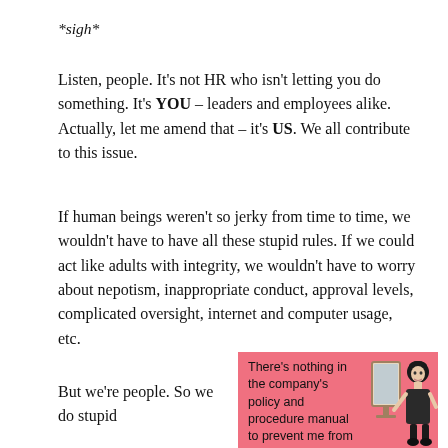*sigh*
Listen, people. It's not HR who isn't letting you do something. It's YOU – leaders and employees alike. Actually, let me amend that – it's US. We all contribute to this issue.
If human beings weren't so jerky from time to time, we wouldn't have to have all these stupid rules. If we could act like adults with integrity, we wouldn't have to worry about nepotism, inappropriate conduct, approval levels, complicated oversight, internet and computer usage, etc.
But we're people. So we do stupid
[Figure (illustration): Pink humorous eCard illustration showing text 'There's nothing in the company's policy and procedure manual to prevent me from wearing a meat dress to work.' with a vintage woman figure and a mirror.]